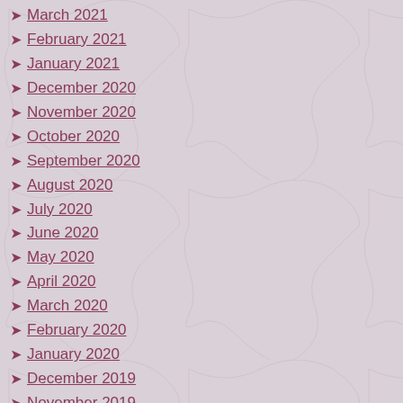March 2021
February 2021
January 2021
December 2020
November 2020
October 2020
September 2020
August 2020
July 2020
June 2020
May 2020
April 2020
March 2020
February 2020
January 2020
December 2019
November 2019
October 2019
September 2019
August 2019
July 2019